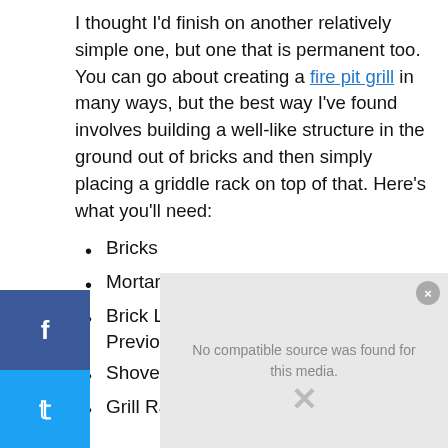I thought I'd finish on another relatively simple one, but one that is permanent too. You can go about creating a fire pit grill in many ways, but the best way I've found involves building a well-like structure in the ground out of bricks and then simply placing a griddle rack on top of that. Here's what you'll need:
Bricks
Mortar
Brick Laying Tools (As Outlined In the Previous Section)
Shovel For Digging Out The Ground
Grill Rack
[Figure (other): Media overlay with message: No compatible source was found for this media.]